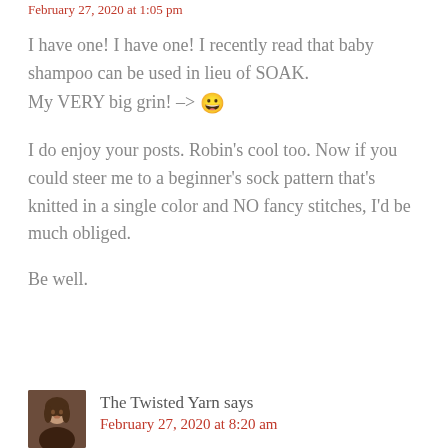February 27, 2020 at 1:05 pm
I have one! I have one! I recently read that baby shampoo can be used in lieu of SOAK.
My VERY big grin! –> 😀
I do enjoy your posts. Robin's cool too. Now if you could steer me to a beginner's sock pattern that's knitted in a single color and NO fancy stitches, I'd be much obliged.
Be well.
Reply
The Twisted Yarn says
February 27, 2020 at 8:20 am